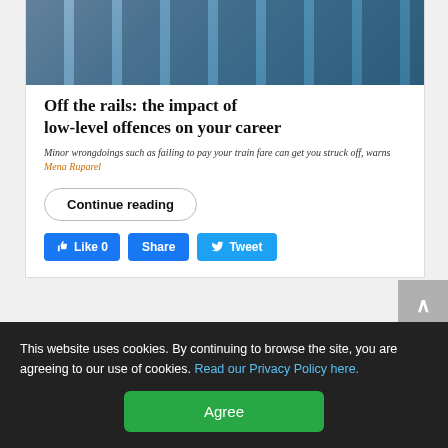[Figure (photo): Photo of a row of automated ticket barriers/machines in a transit station, with blue-toned lighting]
Off the rails: the impact of low-level offences on your career
Minor wrongdoings such as failing to pay your train fare can get you struck off, warns Mena Ruparel
Continue reading
Like 0  Share  Tweet
Friday, 19 July 2019
This website uses cookies. By continuing to browse the site, you are agreeing to our use of cookies. Read our Privacy Policy here.
Agree